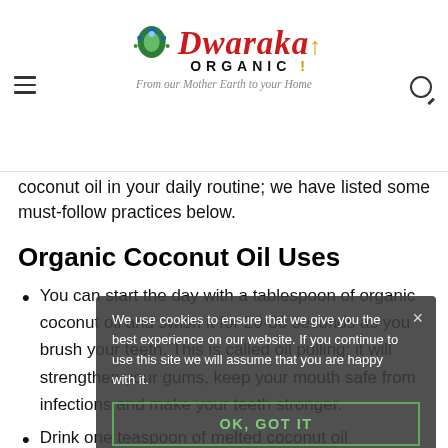Dwaraka Organic — From our Mother Earth to your Home
coconut oil in your daily routine; we have listed some must-follow practices below.
Organic Coconut Oil Uses
You can start the day with a tablespoon of organic coconut oil and swish it for 20-30 seconds as you brush your teeth. This is called oil pulling; it will strengthen your gums, keep your mouth safe from infections and make your teeth stronger.
Drink one teaspoon of melted coconut oil
We use cookies to ensure that we give you the best experience on our website. If you continue to use this site we will assume that you are happy with it. OK, GOT IT